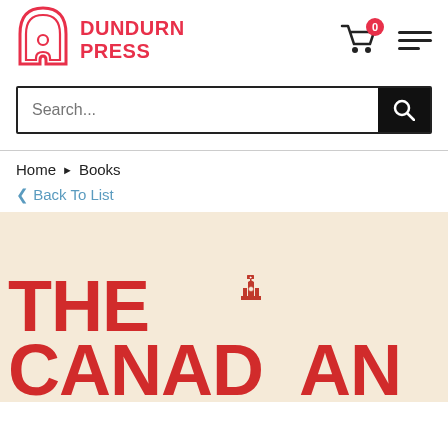[Figure (logo): Dundurn Press logo: arched window/tag icon in red outline, with DUNDURN PRESS text in red bold]
[Figure (illustration): Shopping cart icon with red badge showing 0]
[Figure (illustration): Hamburger menu icon (three horizontal lines)]
Search...
Home ▶ Books
< Back To List
[Figure (illustration): Book cover with cream/beige background showing large red bold text 'THE CANADAN' (partial, cropped) with a small Canadian Parliament/Peace Tower illustration between the letters]